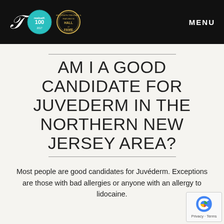[Figure (logo): Website header with script letter T logo, realself.100 teal badge, Hall of Fame gold badge, and MENU text on black background]
AM I A GOOD CANDIDATE FOR JUVEDERM IN THE NORTHERN NEW JERSEY AREA?
Most people are good candidates for Juvéderm. Exceptions are those with bad allergies or anyone with an allergy to lidocaine.